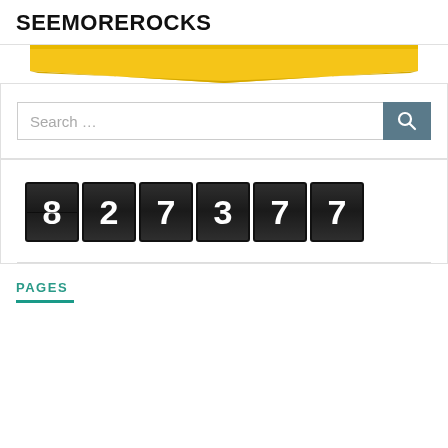SEEMOREROCKS
[Figure (illustration): Gold/yellow banner or badge graphic at the top of the page, partially visible]
[Figure (screenshot): Search bar with placeholder text 'Search ...' and a dark blue-grey search button with magnifying glass icon]
[Figure (infographic): Mechanical counter/odometer display showing the number 827377 in white digits on dark flip-tile style panels]
PAGES